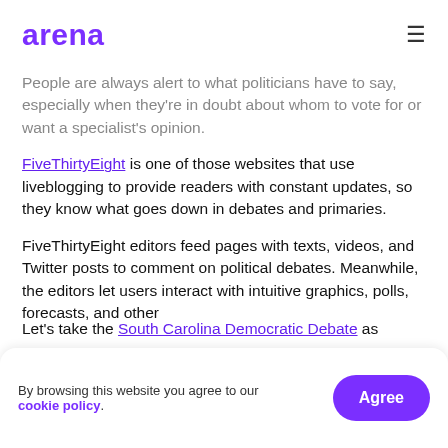arena
People are always alert to what politicians have to say, especially when they're in doubt about whom to vote for or want a specialist's opinion.
FiveThirtyEight is one of those websites that use liveblogging to provide readers with constant updates, so they know what goes down in debates and primaries.
FiveThirtyEight editors feed pages with texts, videos, and Twitter posts to comment on political debates. Meanwhile, the editors let users interact with intuitive graphics, polls, forecasts, and other
By browsing this website you agree to our cookie policy.
Let's take the South Carolina Democratic Debate as